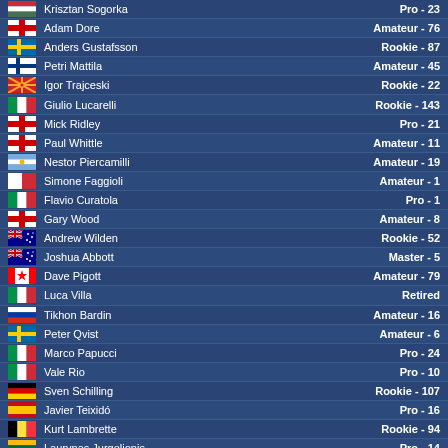| Flag | Name | Category |
| --- | --- | --- |
| Hungary | Krisztan Sogorka | Pro - 23 |
| England | Adam Dore | Amateur - 76 |
| Sweden | Anders Gustafsson | Rookie - 87 |
| Finland | Petri Mattila | Amateur - 45 |
| North Macedonia | Igor Trajceski | Rookie - 22 |
| Italy | Giulio Lucarelli | Rookie - 143 |
| England | Mick Ridley | Pro - 21 |
| England | Paul Whittle | Amateur - 11 |
| Argentina | Nestor Piercamilli | Amateur - 19 |
| Italy | Simone Faggioli | Amateur - 1 |
| Italy | Flavio Curatola | Pro - 1 |
| England | Gary Wood | Amateur - 8 |
| Australia | Andrew Wilden | Rookie - 52 |
| Australia | Joshua Abbott | Master - 5 |
| Canada | Dave Pigott | Amateur - 79 |
| Italy | Luca Villa | Retired |
| Russia | Tikhon Bardin | Amateur - 16 |
| Sweden | Peter Qvist | Amateur - 6 |
| Italy | Marco Papucci | Pro - 24 |
| Italy | Vale Rio | Pro - 10 |
| Germany | Sven Schilling | Rookie - 107 |
| Spain | Javier Teixidó | Pro - 16 |
| Belgium | Kurt Lambrette | Rookie - 94 |
| Lithuania | Laurynas Jurgelionis | Pro - 14 |